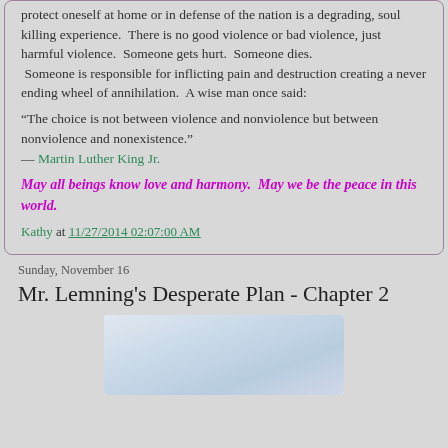protect oneself at home or in defense of the nation is a degrading, soul killing experience. There is no good violence or bad violence, just harmful violence. Someone gets hurt. Someone dies. Someone is responsible for inflicting pain and destruction creating a never ending wheel of annihilation. A wise man once said:
“The choice is not between violence and nonviolence but between nonviolence and nonexistence.”
— Martin Luther King Jr.
May all beings know love and harmony. May we be the peace in this world.
Kathy at 11/27/2014 02:07:00 AM
Sunday, November 16
Mr. Lemning's Desperate Plan - Chapter 2
[Figure (photo): A light blue/white sky or cloud image, faded and soft, serving as illustration for the blog post.]